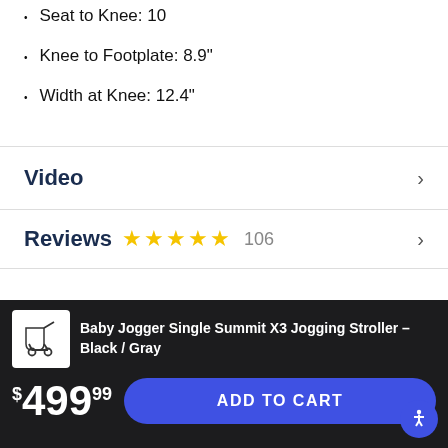Seat to Knee: 10
Knee to Footplate: 8.9"
Width at Knee: 12.4"
Video
Reviews
Ask & Answer
Baby Jogger Single Summit X3 Jogging Stroller – Black / Gray
$499.99
ADD TO CART